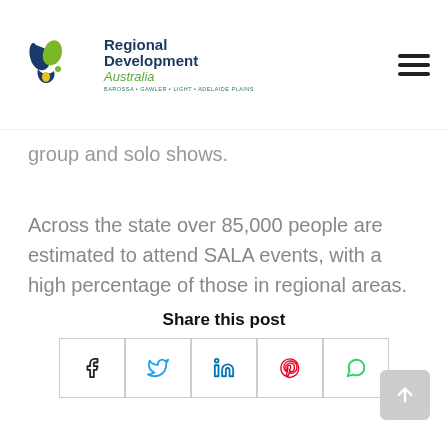[Figure (logo): Regional Development Australia logo with leaf/map shapes and text 'Regional Development Australia — Barossa • Gawler • Light • Adelaide Plains']
group and solo shows.
Across the state over 85,000 people are estimated to attend SALA events, with a high percentage of those in regional areas.
Share this post
[Figure (infographic): Social share buttons: Facebook, Twitter, LinkedIn, Pinterest, WhatsApp]